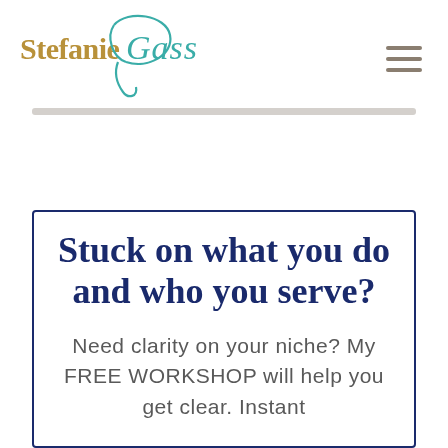Stefanie Gass
Stuck on what you do and who you serve?
Need clarity on your niche? My FREE WORKSHOP will help you get clear. Instant